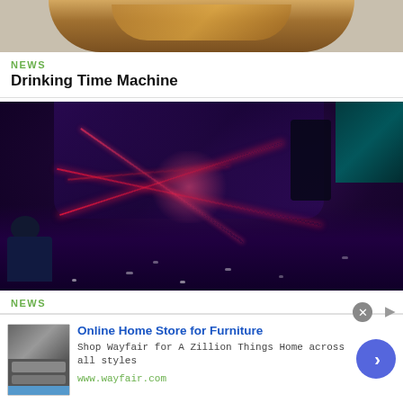[Figure (photo): Partial top image showing decorative golden elements on beige background, cropped at top]
NEWS
Drinking Time Machine
[Figure (photo): Dark nightclub/laser tag scene with red laser beams and purple lighting, person on left side]
NEWS
Taser Tag
[Figure (infographic): Advertisement for Wayfair: Online Home Store for Furniture. Shop Wayfair for A Zillion Things Home across all styles. www.wayfair.com]